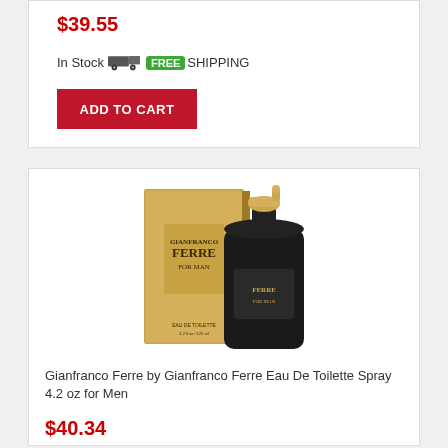$39.55
In Stock FREE SHIPPING
ADD TO CART
[Figure (photo): Gianfranco Ferre cologne bottle (dark/black with gold cap) next to gold packaging box]
Gianfranco Ferre by Gianfranco Ferre Eau De Toilette Spray 4.2 oz for Men
$40.34